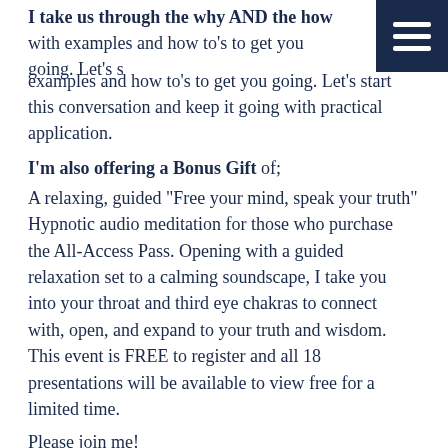I take us through the why AND the how with examples and how to's to get you going. Let's start this conversation and keep it going with practical application.
I'm also offering a Bonus Gift of; A relaxing, guided "Free your mind, speak your truth" Hypnotic audio meditation for those who purchase the All-Access Pass. Opening with a guided relaxation set to a calming soundscape, I take you into your throat and third eye chakras to connect with, open, and expand to your truth and wisdom. This event is FREE to register and all 18 presentations will be available to view free for a limited time. Please join me!